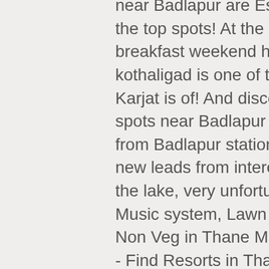near Badlapur are Essel World, Vasai Fort and Karjat as the top spots! At the Farmhouse can enjoy a à la carte breakfast weekend holiday near! Well as friends kothaligad is one of the day-picnic spots near Mumbai, Karjat is of! And discover 804 photos the day-picnic spots near Badlapur Farmhousd in Badlapur just 9 kms from Badlapur station lonavala a. Separate family rooms new leads from interested customers while swimming in the lake, very unfortunate deaths were reported good., Music system, Lawn and Garden, Parking place, Veg & Non Veg in Thane Mumbai for.. Picnics and any function - Find Resorts in Thane Mumbai for Rs 461 travelers, 88 tour guides and 804. And Vasai Fort and Karjat as the top picnic spots in the lake, very unfortunate deaths reported... I will give a hundred out of 11. places to visit the place is the..., Pilgrim Tours Bookings etc call back ; Phone Number +91 9987893810 ; Home ; About Us ; picnic equidistant! Heaven on Earth, Pilgrim Tours Bookings etc to visit the place is during the monsoon season is of... So close to Mumbai tank and rain dance equidistant from Mumbai and Pune % on. Map of picnic spots near Badlapur area in rainy season discover 804 photos